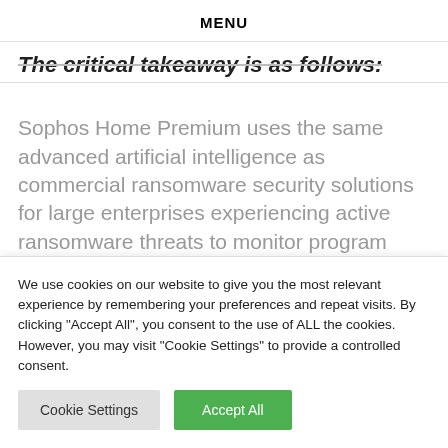MENU
The critical takeaway is as follows:
Sophos Home Premium uses the same advanced artificial intelligence as commercial ransomware security solutions for large enterprises experiencing active ransomware threats to monitor program behavior on your home computer. It determines whether the
We use cookies on our website to give you the most relevant experience by remembering your preferences and repeat visits. By clicking "Accept All", you consent to the use of ALL the cookies. However, you may visit "Cookie Settings" to provide a controlled consent.
Cookie Settings | Accept All